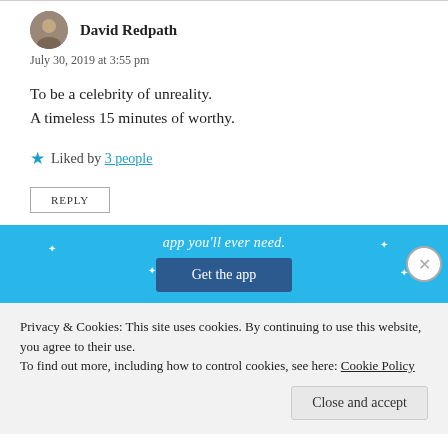David Redpath
July 30, 2019 at 3:55 pm
To be a celebrity of unreality.
A timeless 15 minutes of worthy.
Liked by 3 people
REPLY
[Figure (screenshot): App promotion banner with blue background, 'app you'll ever need.' text, and a 'Get the app' button]
Privacy & Cookies: This site uses cookies. By continuing to use this website, you agree to their use.
To find out more, including how to control cookies, see here: Cookie Policy
Close and accept